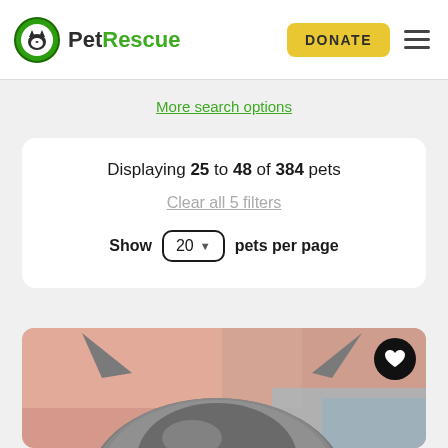[Figure (logo): PetRescue logo with green circle icon containing a dog/cat silhouette and bold text 'PetRescue']
DONATE
More search options
Displaying 25 to 48 of 384 pets
Clear all 5 filters
Show 20 pets per page
[Figure (photo): Close-up photo of top of a cat's head with grey fur, on a pink and blue background. Black circular heart/favorite button overlaid in top right corner.]